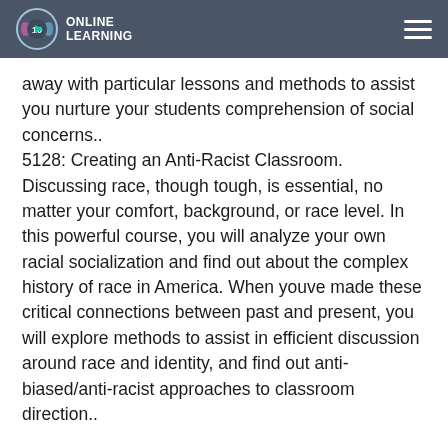Online Learning
away with particular lessons and methods to assist you nurture your students comprehension of social concerns..
5128: Creating an Anti-Racist Classroom.
Discussing race, though tough, is essential, no matter your comfort, background, or race level. In this powerful course, you will analyze your own racial socialization and find out about the complex history of race in America. When youve made these critical connections between past and present, you will explore methods to assist in efficient discussion around race and identity, and find out anti-biased/anti-racist approaches to classroom direction..
When our students enter our classrooms, they come with bits and pieces of news from home, their social media feeds, and from discussions with good friends. Despite